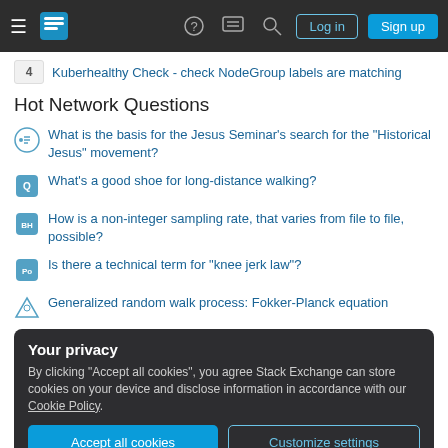Stack Exchange navigation bar with Log in and Sign up buttons
4  Kuberhealthy Check - check NodeGroup labels are matching
Hot Network Questions
What is the basis for the Jesus Seminar's search for the "Historical Jesus" movement?
What's a good shoe for long-distance walking?
How is a non-integer sampling rate, that varies from file to file, possible?
Is there a technical term for "knee jerk law"?
Generalized random walk process: Fokker-Planck equation
Your privacy
By clicking "Accept all cookies", you agree Stack Exchange can store cookies on your device and disclose information in accordance with our Cookie Policy.
Accept all cookies  Customize settings
How does one refer to "raisins" in French?